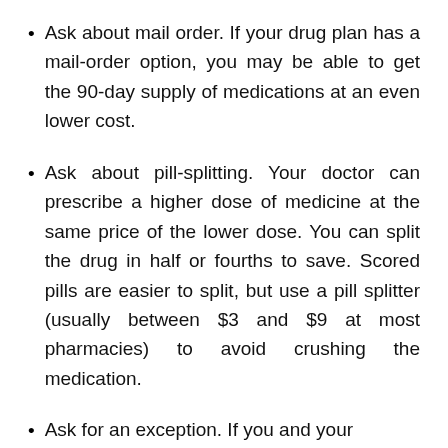Ask about mail order. If your drug plan has a mail-order option, you may be able to get the 90-day supply of medications at an even lower cost.
Ask about pill-splitting. Your doctor can prescribe a higher dose of medicine at the same price of the lower dose. You can split the drug in half or fourths to save. Scored pills are easier to split, but use a pill splitter (usually between $3 and $9 at most pharmacies) to avoid crushing the medication.
Ask for an exception. If you and your